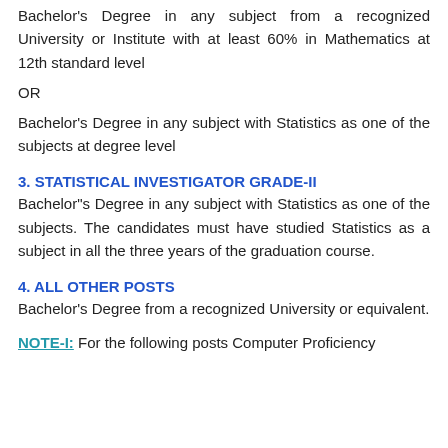Bachelor’s Degree in any subject from a recognized University or Institute with at least 60% in Mathematics at 12th standard level
OR
Bachelor’s Degree in any subject with Statistics as one of the subjects at degree level
3. STATISTICAL INVESTIGATOR GRADE-II
Bachelor”s Degree in any subject with Statistics as one of the subjects. The candidates must have studied Statistics as a subject in all the three years of the graduation course.
4. ALL OTHER POSTS
Bachelor’s Degree from a recognized University or equivalent.
NOTE-I: For the following posts Computer Proficiency